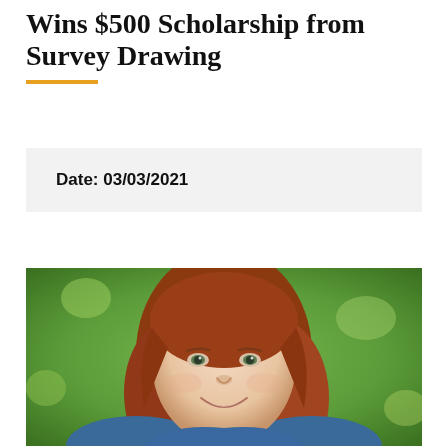Wins $500 Scholarship from Survey Drawing
Date: 03/03/2021
[Figure (photo): Headshot of a smiling woman with long auburn/red hair, light skin, green eyes, wearing a blue denim top, with a blurred green outdoor background.]